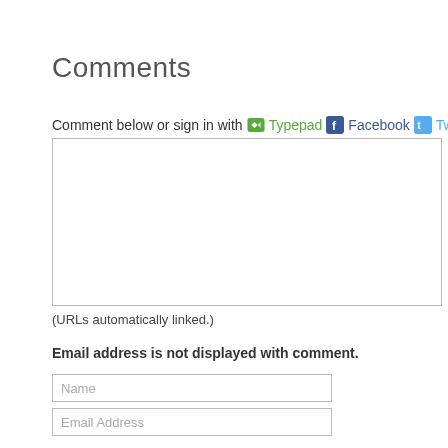Comments
Comment below or sign in with Typepad Facebook Twitter
[Figure (other): Comment text area input box]
(URLs automatically linked.)
Email address is not displayed with comment.
Name input field
Email Address input field
Web Site URL input field
Post Preview buttons